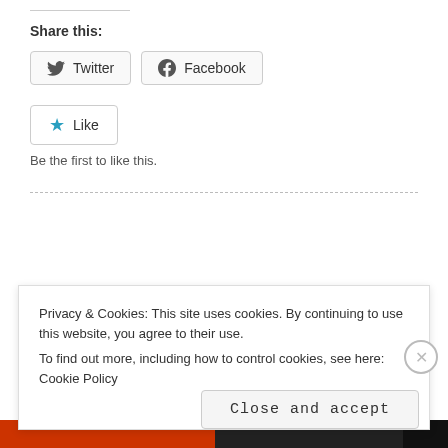Share this:
[Figure (screenshot): Twitter share button with bird icon]
[Figure (screenshot): Facebook share button with 'f' icon]
[Figure (screenshot): Like button with blue star icon]
Be the first to like this.
Privacy & Cookies: This site uses cookies. By continuing to use this website, you agree to their use. To find out more, including how to control cookies, see here: Cookie Policy
Close and accept